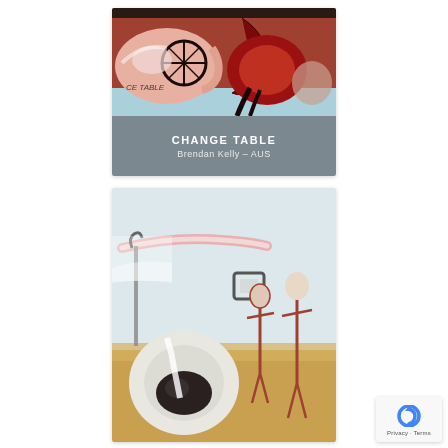[Figure (illustration): Top artwork card showing an abstract expressionist painting with dark reds, browns, and blacks on a light blue background, partially overlaid by text. Title 'CHANGE TABLE' in bold white uppercase, artist 'Brendan Kelly – AUS' below in lighter text, on a grey-blue overlay band.]
[Figure (illustration): Bottom artwork card showing a surrealist painting with figures on an ochre/sandy landscape: a large white circular shape at lower left, skeletal/mannequin-like humanoid figures in the center and right, and a horizontal pink/white form near the top, against a pale sky.]
[Figure (logo): Google reCAPTCHA privacy badge at lower right with a blue circular arrow icon and 'Privacy · Terms' text.]